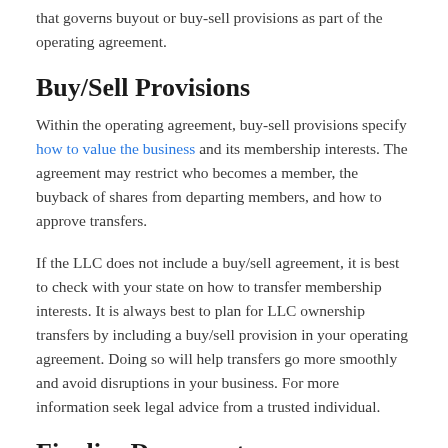that governs buyout or buy-sell provisions as part of the operating agreement.
Buy/Sell Provisions
Within the operating agreement, buy-sell provisions specify how to value the business and its membership interests. The agreement may restrict who becomes a member, the buyback of shares from departing members, and how to approve transfers.
If the LLC does not include a buy/sell agreement, it is best to check with your state on how to transfer membership interests. It is always best to plan for LLC ownership transfers by including a buy/sell provision in your operating agreement. Doing so will help transfers go more smoothly and avoid disruptions in your business. For more information seek legal advice from a trusted individual.
Finalize Documents